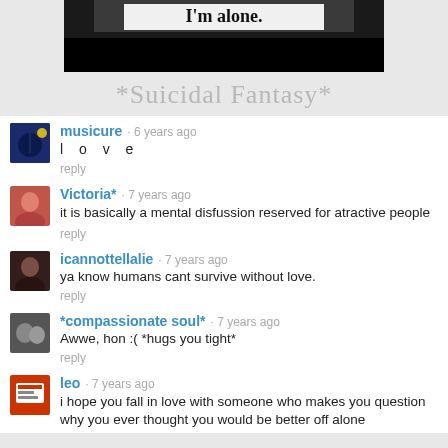[Figure (photo): A dark black and white image partially visible at top, showing text 'I'm alone.' on a white label against a dark background.]
*Suicidal Fantasy*
musicure · 6 years ago
l o v e
reply
Victoria* · 7 years ago
it is basically a mental disfussion reserved for atractive people
reply
icannottellalie · 7 years ago
ya know humans cant survive without love.
reply
*compassionate soul* · 7 years ago
Awwe, hon :( *hugs you tight*
reply
leo · 7 years ago
i hope you fall in love with someone who makes you question why you ever thought you would be better off alone